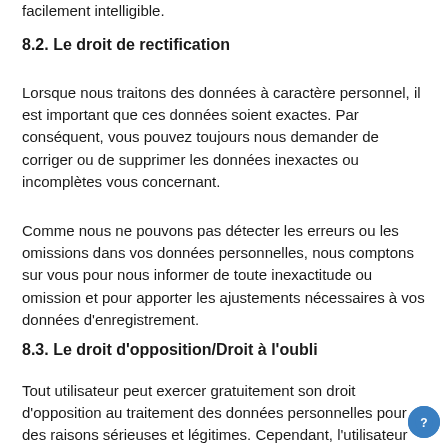facilement intelligible.
8.2. Le droit de rectification
Lorsque nous traitons des données à caractère personnel, il est important que ces données soient exactes. Par conséquent, vous pouvez toujours nous demander de corriger ou de supprimer les données inexactes ou incomplètes vous concernant.
Comme nous ne pouvons pas détecter les erreurs ou les omissions dans vos données personnelles, nous comptons sur vous pour nous informer de toute inexactitude ou omission et pour apporter les ajustements nécessaires à vos données d'enregistrement.
8.3. Le droit d'opposition/Droit à l'oubli
Tout utilisateur peut exercer gratuitement son droit d'opposition au traitement des données personnelles pour des raisons sérieuses et légitimes. Cependant, l'utilisateur